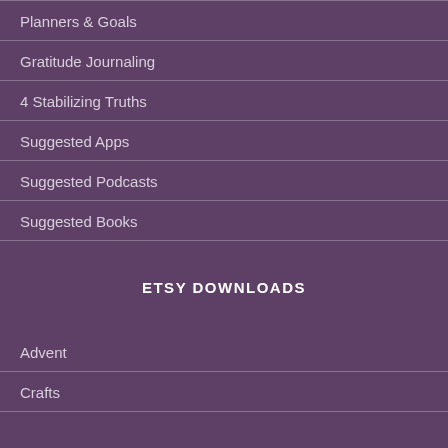Planners & Goals
Gratitude Journaling
4 Stabilizing Truths
Suggested Apps
Suggested Podcasts
Suggested Books
ETSY DOWNLOADS
Advent
Crafts